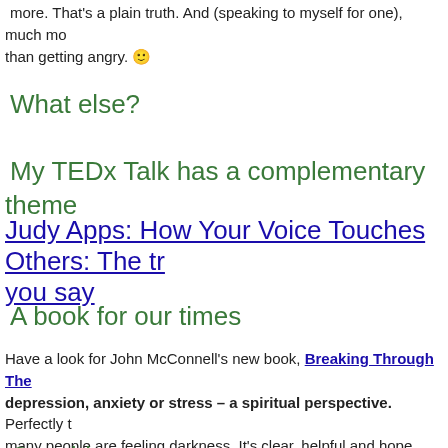more. That's a plain truth. And (speaking to myself for one), much more than getting angry. 🙂
What else?
My TEDx Talk has a complementary theme
Judy Apps: How Your Voice Touches Others: The tr… you say
A book for our times
Have a look for John McConnell's new book, Breaking Through The… depression, anxiety or stress – a spiritual perspective. Perfectly t… many people are feeling darkness. It's clear, helpful and hope shines… times.
Coaching
Coaching is like going for anything you want to be good at – golf, pai… creative writing, football, getting fit, dressing well – leadership, parent…